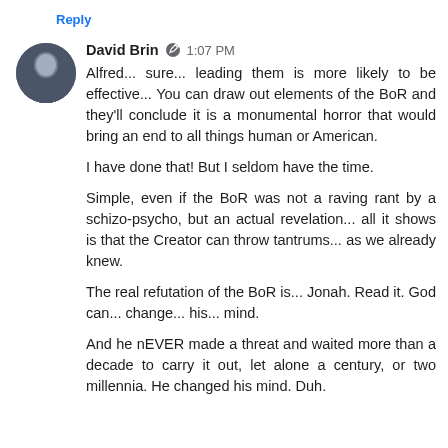Reply
David Brin · 1:07 PM
Alfred... sure... leading them is more likely to be effective... You can draw out elements of the BoR and they'll conclude it is a monumental horror that would bring an end to all things human or American.

I have done that! But I seldom have the time.

Simple, even if the BoR was not a raving rant by a schizo-psycho, but an actual revelation... all it shows is that the Creator can throw tantrums... as we already knew.

The real refutation of the BoR is... Jonah. Read it. God can... change... his... mind.

And he nEVER made a threat and waited more than a decade to carry it out, let alone a century, or two millennia. He changed his mind. Duh.